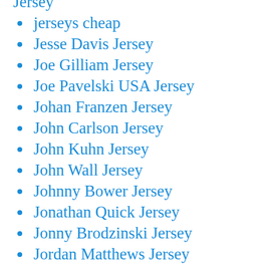Jersey
jerseys cheap
Jesse Davis Jersey
Joe Gilliam Jersey
Joe Pavelski USA Jersey
Johan Franzen Jersey
John Carlson Jersey
John Kuhn Jersey
John Wall Jersey
Johnny Bower Jersey
Jonathan Quick Jersey
Jonny Brodzinski Jersey
Jordan Matthews Jersey
Jordan Scarlett Jersey
Josh Bynes Jersey
Josh Doctson Jersey
Josh Lambo Jersey